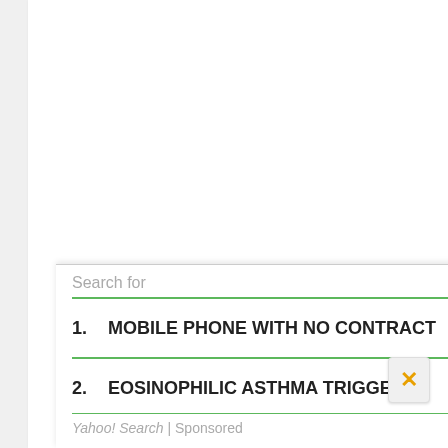Lack of vitamin B12 and iron deficiency can cause anemia and lead you to feel cold. Good sources of B12 are chicken, eggs and fish, and people with iron deficiency may want to seek out poultry, pork, fish, peas, soybeans, chickpeas and
Search for
1. MOBILE PHONE WITH NO CONTRACT
2. EOSINOPHILIC ASTHMA TRIGGER
Yahoo! Search | Sponsored